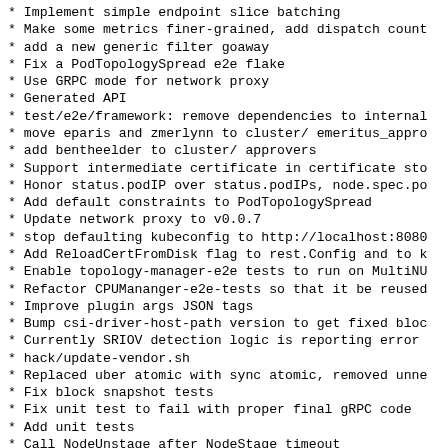* Implement simple endpoint slice batching
* Make some metrics finer-grained, add dispatch count
* add a new generic filter goaway
* Fix a PodTopologySpread e2e flake
* Use GRPC mode for network proxy
* Generated API
* test/e2e/framework: remove dependencies to internal
* move eparis and zmerlynn to cluster/ emeritus_appro
* add bentheelder to cluster/ approvers
* Support intermediate certificate in certificate sto
* Honor status.podIP over status.podIPs, node.spec.po
* Add default constraints to PodTopologySpread
* Update network proxy to v0.0.7
* stop defaulting kubeconfig to http://localhost:8080
* Add ReloadCertFromDisk flag to rest.Config and to k
* Enable topology-manager-e2e tests to run on MultiNU
* Refactor CPUMananger-e2e-tests so that it be reused
* Improve plugin args JSON tags
* Bump csi-driver-host-path version to get fixed bloc
* Currently SRIOV detection logic is reporting error
* hack/update-vendor.sh
* Replaced uber atomic with sync atomic, removed unne
* Fix block snapshot tests
* Fix unit test to fail with proper final gRPC code
* Add unit tests
* Call NodeUnstage after NodeStage timeout
* Call NodeUnpublish after NodePublish timeout
* Add uncertain map state to block volumes
* Add context and options to scale client
* Add mutex to Topology Manager Add/RemoveContainer